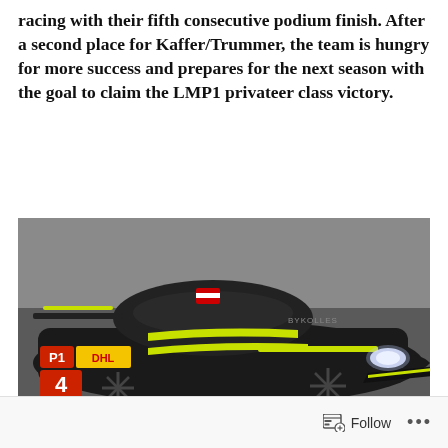racing with their fifth consecutive podium finish. After a second place for Kaffer/Trummer, the team is hungry for more success and prepares for the next season with the goal to claim the LMP1 privateer class victory.
[Figure (photo): A black LMP1 racing car number 4 with DHL sponsorship and yellow-green livery accents, photographed in a pit or garage setting. The car carries a P1 class designation and Austrian flag detail.]
Follow ...